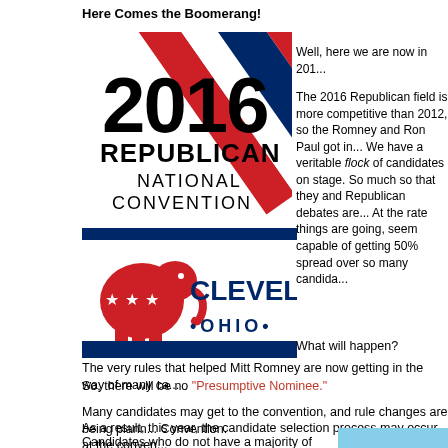Here Comes the Boomerang!
[Figure (logo): 2016 Republican National Convention logo with red, white, and blue diagonal stripes]
Well, here we are now in 201...
The 2016 Republican field is more competitive than 2012, so the Romney and Ron Paul got in... We have a veritable flock of candidates on stage. So much so that they and Republican debates are... At the rate things are going, seem capable of getting 50% spread over so many candida...
[Figure (logo): Cleveland Ohio Republican elephant logo with stars and stripes]
What will happen?
The very rules that helped Mitt Romney are now getting in the way of many ca...
So, there will be no “Presumptive Nominee.”
Many candidates may get to the convention, and rule changes are being plann... Convention.
As a result, this year, the candidate selection process may occur at the conven...
Candidates who do not have a majority of delegates are being encouraged to... and not to drop out.
Delegates are being encouraged to vote...